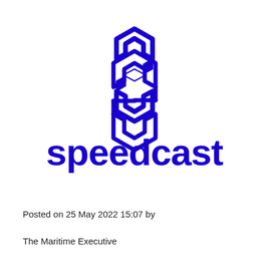[Figure (logo): Speedcast logo: geometric S-shaped icon in blue above the word 'speedcast' in bold blue lowercase letters]
Posted on 25 May 2022 15:07 by
The Maritime Executive